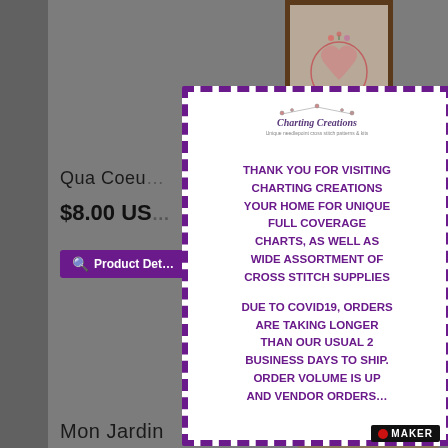[Figure (photo): Cross stitch heart pattern in a brown frame, partially visible at top]
Qua Coeu…
$8.00 US…
Product Det…
[Figure (screenshot): Popup overlay from Charting Creations website with logo and COVID-19 notice]
THANK YOU FOR VISITING CHARTING CREATIONS YOUR HOME FOR UNIQUE FULL COVERAGE CHARTS, AS WELL AS WIDE ASSORTMENT OF CROSS STITCH SUPPLIES
DUE TO COVID19, ORDERS ARE TAKING LONGER THAN OUR USUAL 2 BUSINESS DAYS TO SHIP. ORDER VOLUME IS UP AND VENDOR ORDERS…
[Figure (photo): Mon Jardin cross stitch pattern in a frame showing garden scene with figure and flowers, partially visible]
Mon Jardin
MAKER